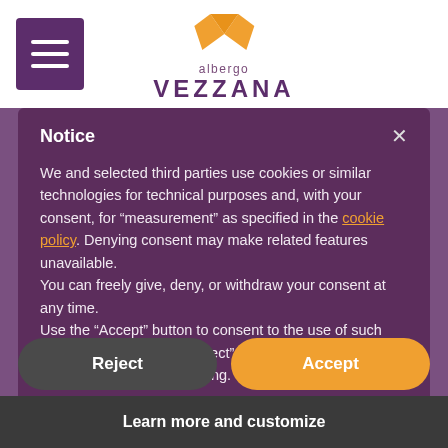[Figure (logo): Albergo Vezzana logo with orange heart/diamond shape above text 'albergo VEZZANA']
Notice
We and selected third parties use cookies or similar technologies for technical purposes and, with your consent, for “measurement” as specified in the cookie policy. Denying consent may make related features unavailable.
You can freely give, deny, or withdraw your consent at any time.
Use the “Accept” button to consent to the use of such technologies. Use the “Reject” button or close this notice to continue without accepting.
Reject
Accept
Learn more and customize